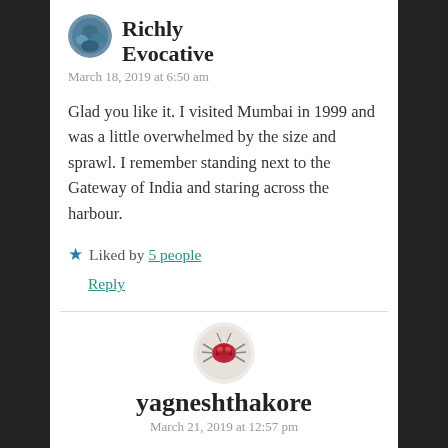Richly Evocative
March 18, 2019 at 6:50 am
Glad you like it. I visited Mumbai in 1999 and was a little overwhelmed by the size and sprawl. I remember standing next to the Gateway of India and staring across the harbour.
★ Liked by 5 people
Reply
yagneshthakore
March 21, 2019 at 12:57 pm